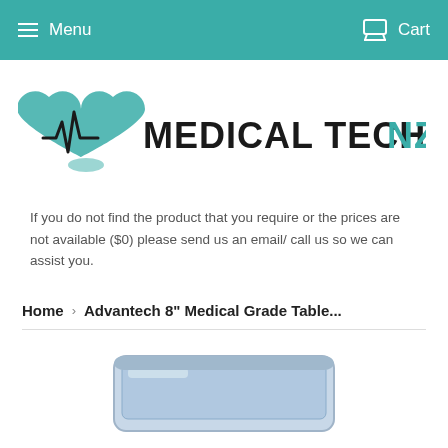Menu  Cart
[Figure (logo): Medical Tech NZ logo — teal heart with ECG line and the text MEDICAL TECH in black with NZ in teal]
If you do not find the product that you require or the prices are not available ($0) please send us an email/ call us so we can assist you.
Home › Advantech 8" Medical Grade Table...
[Figure (photo): Partial photo of a medical grade tablet device at the bottom of the page]